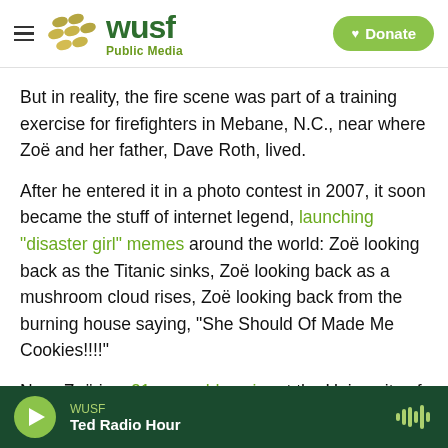WUSF Public Media | Donate
But in reality, the fire scene was part of a training exercise for firefighters in Mebane, N.C., near where Zoë and her father, Dave Roth, lived.
After he entered it in a photo contest in 2007, it soon became the stuff of internet legend, launching "disaster girl" memes around the world: Zoë looking back as the Titanic sinks, Zoë looking back as a mushroom cloud rises, Zoë looking back from the burning house saying, "She Should Of Made Me Cookies!!!!"
Now, Zoë is a 21-year-old senior at the University of
WUSF | Ted Radio Hour